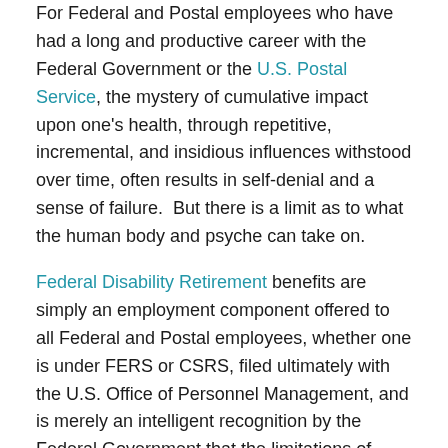For Federal and Postal employees who have had a long and productive career with the Federal Government or the U.S. Postal Service, the mystery of cumulative impact upon one's health, through repetitive, incremental, and insidious influences withstood over time, often results in self-denial and a sense of failure.  But there is a limit as to what the human body and psyche can take on.
Federal Disability Retirement benefits are simply an employment component offered to all Federal and Postal employees, whether one is under FERS or CSRS, filed ultimately with the U.S. Office of Personnel Management, and is merely an intelligent recognition by the Federal Government that the limitations of human invincibility can be addressed by allowing for a change of careers, by providing for a foundational security to one's livelihood. Federal Disability Retirement — a viable option in